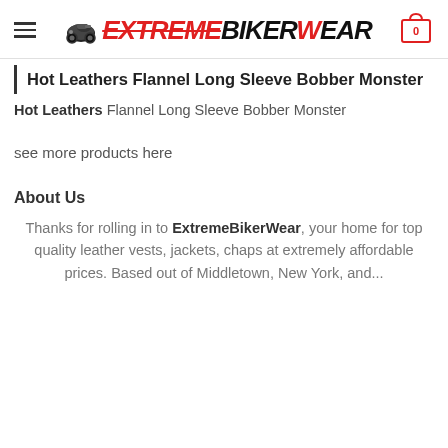ExtremeBikerWear — Navigation header with logo and cart
Hot Leathers Flannel Long Sleeve Bobber Monster
Hot Leathers Flannel Long Sleeve Bobber Monster
see more products here
About Us
Thanks for rolling in to ExtremeBikerWear, your home for top quality leather vests, jackets, chaps at extremely affordable prices. Based out of Middletown, New York, and...